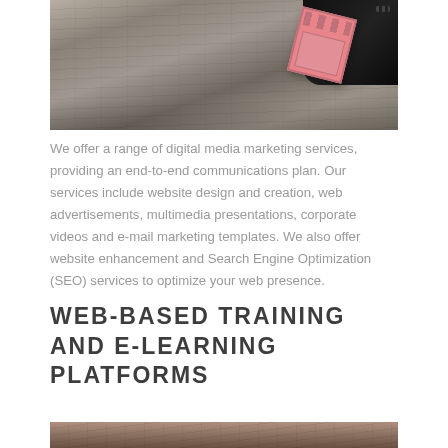[Figure (photo): Photo of a wooden surface/desk with a pink clapperboard and black fabric item, viewed from above]
We offer a range of digital media marketing services, providing an end-to-end communications plan. Our services include website design and creation, web advertisements, multimedia presentations, corporate videos and e-mail marketing templates. We also offer website enhancement and Search Engine Optimization (SEO) services to optimize your web presence.
WEB-BASED TRAINING AND E-LEARNING PLATFORMS
[Figure (photo): Photo of a wooden surface, partially visible at the bottom of the page]